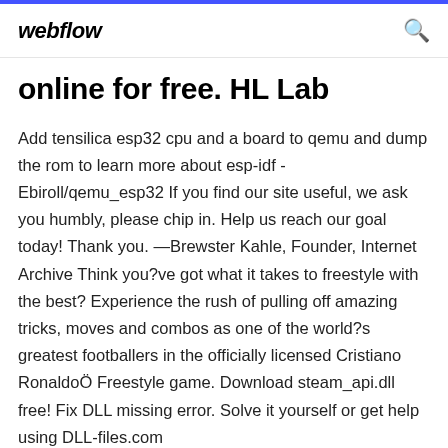webflow
online for free. HL Lab
Add tensilica esp32 cpu and a board to qemu and dump the rom to learn more about esp-idf - Ebiroll/qemu_esp32 If you find our site useful, we ask you humbly, please chip in. Help us reach our goal today! Thank you. —Brewster Kahle, Founder, Internet Archive Think you?ve got what it takes to freestyle with the best? Experience the rush of pulling off amazing tricks, moves and combos as one of the world?s greatest footballers in the officially licensed Cristiano RonaldoÖ Freestyle game. Download steam_api.dll free! Fix DLL missing error. Solve it yourself or get help using DLL-files.com